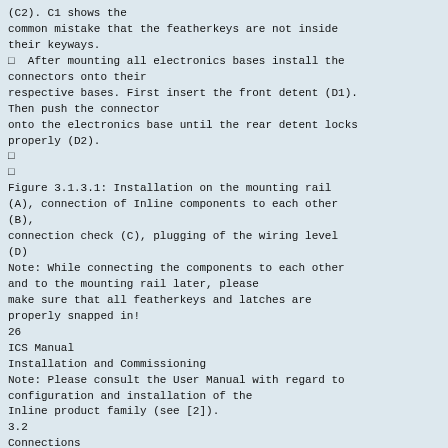(C2). C1 shows the common mistake that the featherkeys are not inside their keyways.
After mounting all electronics bases install the connectors onto their respective bases. First insert the front detent (D1). Then push the connector onto the electronics base until the rear detent locks properly (D2).
□
□
Figure 3.1.3.1: Installation on the mounting rail (A), connection of Inline components to each other (B), connection check (C), plugging of the wiring level (D)
Note: While connecting the components to each other and to the mounting rail later, please make sure that all featherkeys and latches are properly snapped in!
26
ICS Manual
Installation and Commissioning
Note: Please consult the User Manual with regard to configuration and installation of the Inline product family (see [2]).
3.2
Connections
3.2.1
Overview
RS-232
RS-232
I/O-LNK-100